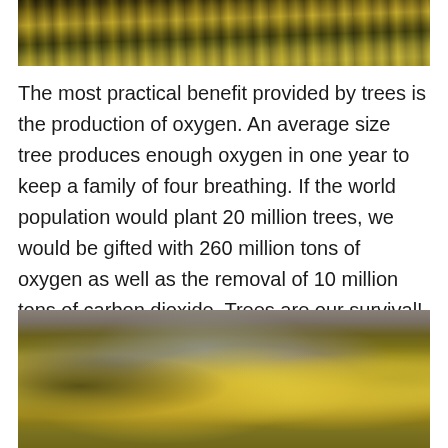[Figure (photo): Autumn forest scene with yellow and orange trees against dark green conifers]
The most practical benefit provided by trees is the production of oxygen.  An average size tree produces enough oxygen in one year to keep a family of four breathing.  If the world population would plant 20 million trees, we would be gifted with 260 million tons of oxygen as well as the removal of 10 million tons of carbon dioxide.  Trees are our survival!
[Figure (photo): Aerial view of hillside covered in bright yellow autumn aspen trees mixed with dark green conifers]